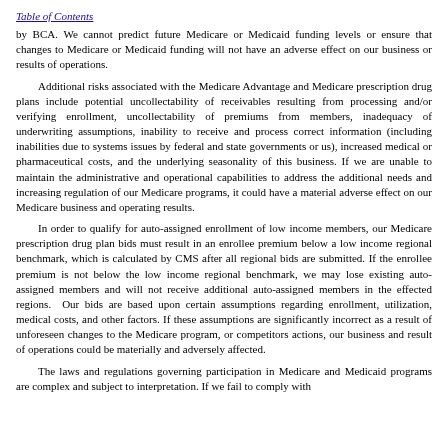Table of Contents
by BCA. We cannot predict future Medicare or Medicaid funding levels or ensure that changes to Medicare or Medicaid funding will not have an adverse effect on our business or results of operations.
Additional risks associated with the Medicare Advantage and Medicare prescription drug plans include potential uncollectability of receivables resulting from processing and/or verifying enrollment, uncollectability of premiums from members, inadequacy of underwriting assumptions, inability to receive and process correct information (including inabilities due to systems issues by federal and state governments or us), increased medical or pharmaceutical costs, and the underlying seasonality of this business. If we are unable to maintain the administrative and operational capabilities to address the additional needs and increasing regulation of our Medicare programs, it could have a material adverse effect on our Medicare business and operating results.
In order to qualify for auto-assigned enrollment of low income members, our Medicare prescription drug plan bids must result in an enrollee premium below a low income regional benchmark, which is calculated by CMS after all regional bids are submitted. If the enrollee premium is not below the low income regional benchmark, we may lose existing auto-assigned members and will not receive additional auto-assigned members in the effected regions. Our bids are based upon certain assumptions regarding enrollment, utilization, medical costs, and other factors. If these assumptions are significantly incorrect as a result of unforeseen changes to the Medicare program, or competitors actions, our business and result of operations could be materially and adversely affected.
The laws and regulations governing participation in Medicare and Medicaid programs are complex and subject to interpretation. If we fail to comply with